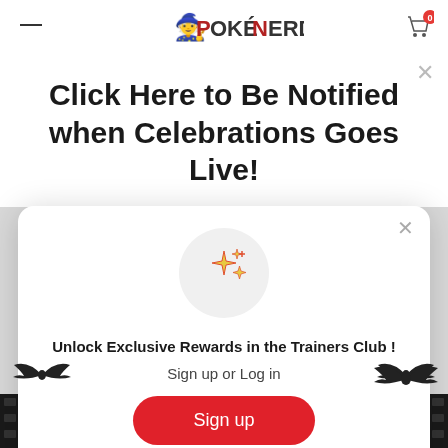POKÉNERDS (website navigation bar with logo, hamburger menu, and cart icon showing 0 items)
Click Here to Be Notified when Celebrations Goes Live!
[Figure (illustration): Sparkle/stars emoji icon in a grey circle]
Unlock Exclusive Rewards in the Trainers Club !
Sign up or Log in
Sign up
Already have an account? Sign in
[Figure (illustration): Bat decorations at bottom corners and mid-right, part of Halloween themed website design]
REINADO product strip at bottom with dark background